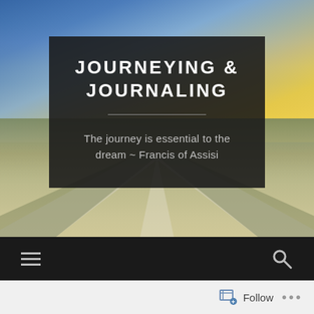[Figure (screenshot): Blog website header screenshot. A scenic landscape photo with a road fork under a dramatic sky with blue and golden tones forms the background. A dark semi-transparent panel overlays the center, containing the blog title 'JOURNEYING & JOURNALING' in large white uppercase bold text, a horizontal divider, and the tagline 'The journey is essential to the dream ~ Francis of Assisi' in grey text. Below the hero image is a dark navigation bar with a hamburger menu icon on the left and a search icon on the right. At the bottom is a white/light grey follow bar with a Follow button and ellipsis.]